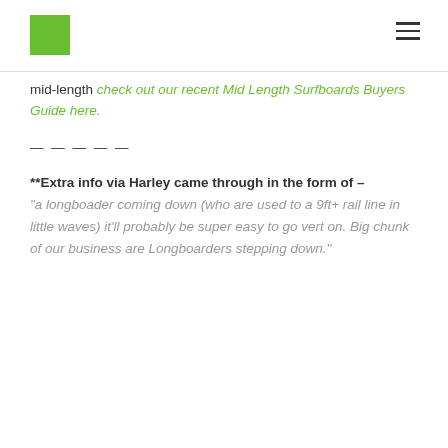[logo square] [hamburger menu]
mid-length check out our recent Mid Length Surfboards Buyers Guide here.
— — — — —
**Extra info via Harley came through in the form of –
"a longboader coming down (who are used to a 9ft+ rail line in little waves) it'll probably be super easy to go vert on. Big chunk of our business are Longboarders stepping down."